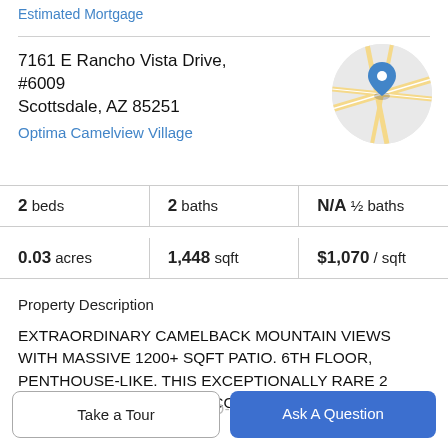Estimated Mortgage
7161 E Rancho Vista Drive, #6009
Scottsdale, AZ 85251
Optima Camelview Village
[Figure (map): Circular map thumbnail showing location pin on street map]
2 beds | 2 baths | N/A ½ baths
0.03 acres | 1,448 sqft | $1,070 / sqft
Property Description
EXTRAORDINARY CAMELBACK MOUNTAIN VIEWS WITH MASSIVE 1200+ SQFT PATIO. 6TH FLOOR, PENTHOUSE-LIKE. THIS EXCEPTIONALLY RARE 2 BEDROOM, 2 BATHROOM CONDO FEATURES
SURROUNDING FLOOR-TO-CEILING GLASS VIEWS
Take a Tour
Ask A Question